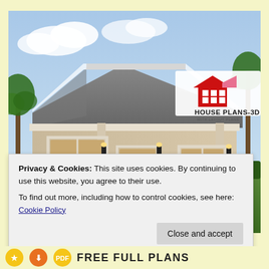[Figure (photo): 3D rendered exterior of a single-story house with hip roof, two windows, a door, wall-mounted lights, palm trees in background, blue sky with clouds. House Plans-3D logo in top right corner with red house icon and pink accent.]
Privacy & Cookies: This site uses cookies. By continuing to use this website, you agree to their use.
To find out more, including how to control cookies, see here: Cookie Policy
Close and accept
FREE FULL PLANS